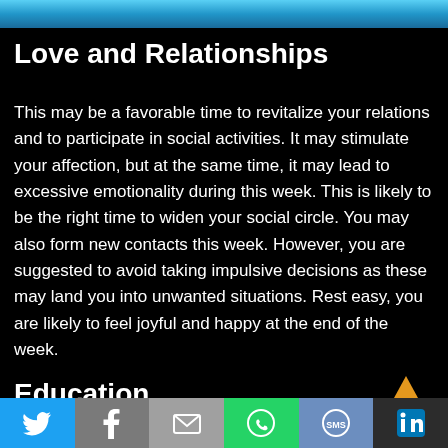[Figure (illustration): Blue gradient banner at top of page]
Love and Relationships
This may be a favorable time to revitalize your relations and to participate in social activities. It may stimulate your affection, but at the same time, it may lead to excessive emotionality during this week. This is likely to be the right time to widen your social circle. You may also form new contacts this week. However, you are suggested to avoid taking impulsive decisions as these may land you into unwanted situations. Rest easy, you are likely to feel joyful and happy at the end of the week.
Education
Twitter | Facebook | Email | WhatsApp | SMS | LinkedIn